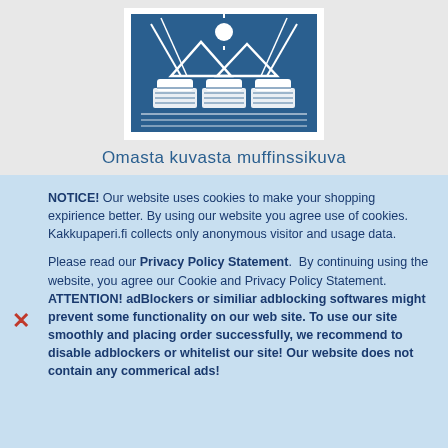[Figure (logo): Blue square logo with stylized muffins/cupcakes and mountain/sun design in white on dark blue background]
Omasta kuvasta muffinssikuva
NOTICE! Our website uses cookies to make your shopping expirience better. By using our website you agree use of cookies. Kakkupaperi.fi collects only anonymous visitor and usage data.

Please read our Privacy Policy Statement. By continuing using the website, you agree our Cookie and Privacy Policy Statement. ATTENTION! adBlockers or similiar adblocking softwares might prevent some functionality on our web site. To use our site smoothly and placing order successfully, we recommend to disable adblockers or whitelist our site! Our website does not contain any commerical ads!